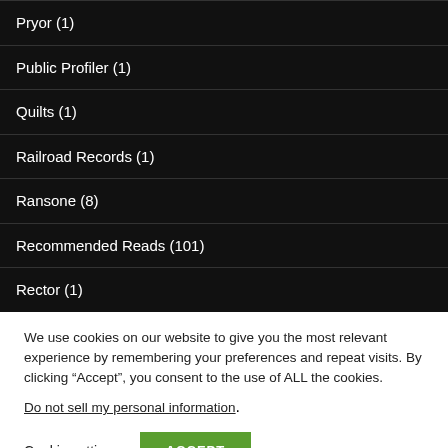Pryor (1)
Public Profiler (1)
Quilts (1)
Railroad Records (1)
Ransone (8)
Recommended Reads (101)
Rector (1)
We use cookies on our website to give you the most relevant experience by remembering your preferences and repeat visits. By clicking “Accept”, you consent to the use of ALL the cookies.
Do not sell my personal information.
Cookie settings  ACCEPT